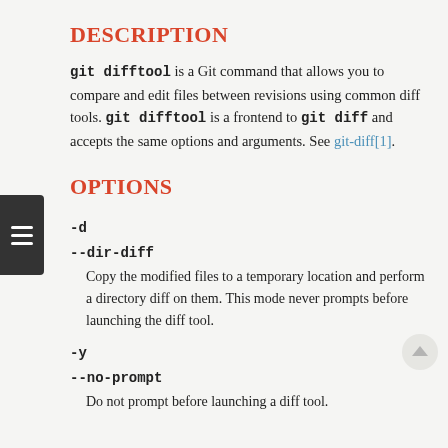DESCRIPTION
git difftool is a Git command that allows you to compare and edit files between revisions using common diff tools. git difftool is a frontend to git diff and accepts the same options and arguments. See git-diff[1].
OPTIONS
-d
--dir-diff
Copy the modified files to a temporary location and perform a directory diff on them. This mode never prompts before launching the diff tool.
-y
--no-prompt
Do not prompt before launching a diff tool.